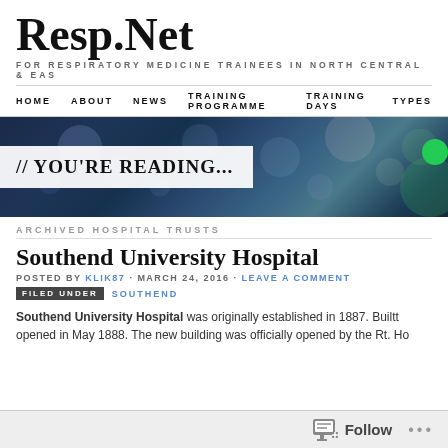Resp.Net
FOR RESPIRATORY MEDICINE TRAINEES IN NORTH CENTRAL & EAS
HOME  ABOUT  NEWS  TRAINING PROGRAMME  TRAINING DAYS  TYPES
[Figure (screenshot): Hero banner image with bokeh city lights background and '// YOU'RE READING...' overlay text box]
ARCHIVED HOSPITAL TRUSTS
Southend University Hospital
POSTED BY KLIK87 · MARCH 24, 2016 · LEAVE A COMMENT
FILED UNDER SOUTHEND
Southend University Hospital was originally established in 1887. Builtt opened in May 1888. The new building was officially opened by the Rt. Ho